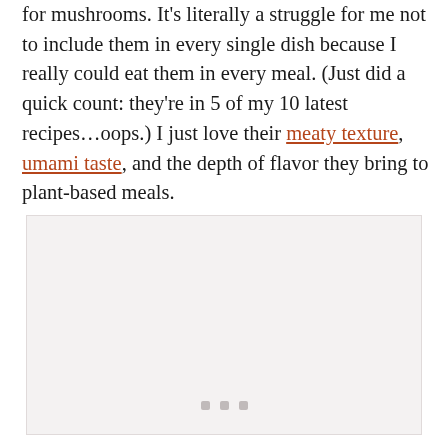for mushrooms. It's literally a struggle for me not to include them in every single dish because I really could eat them in every meal. (Just did a quick count: they're in 5 of my 10 latest recipes…oops.) I just love their meaty texture, umami taste, and the depth of flavor they bring to plant-based meals.
[Figure (photo): Image placeholder with light gray background and three small gray dots at the bottom center, representing a loading or placeholder image.]